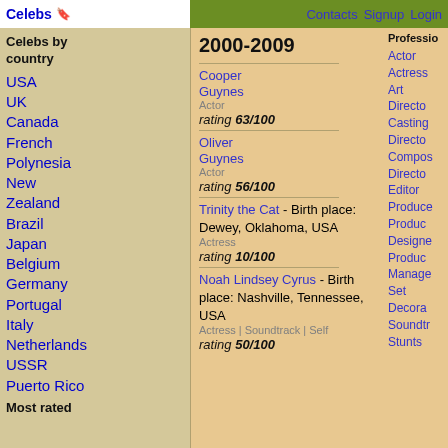Celebs | Contacts Signup Login
2000-2009
Cooper Guynes
Actor
rating 63/100
Oliver Guynes
Actor
rating 56/100
Trinity the Cat - Birth place: Dewey, Oklahoma, USA
Actress
rating 10/100
Noah Lindsey Cyrus - Birth place: Nashville, Tennessee, USA
Actress | Soundtrack | Self
rating 50/100
Celebs by country
USA
UK
Canada
French Polynesia
New Zealand
Brazil
Japan
Belgium
Germany
Portugal
Italy
Netherlands
USSR
Puerto Rico
Most rated
Profession: Actor, Actress, Art Director, Casting Director, Composer, Director, Editor, Producer, Production Designer, Production Manager, Set Decorator, Soundtrack, Stunts